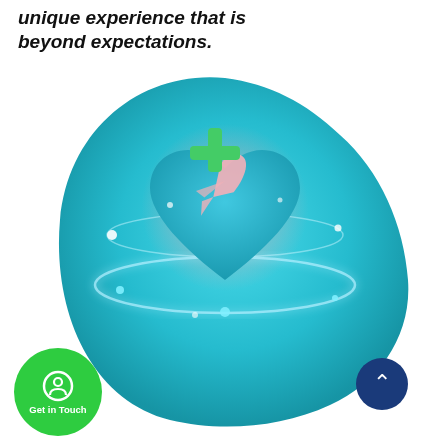unique experience that is beyond expectations.
[Figure (illustration): A teal/cyan organic blob shape containing a heart with a medical cross symbol and airplane silhouette, with glowing orbital rings around it, representing medical travel insurance.]
[Figure (other): Green circular WhatsApp-style button with phone icon labeled 'Get in Touch']
[Figure (other): Dark blue circular scroll-to-top button with upward caret arrow]